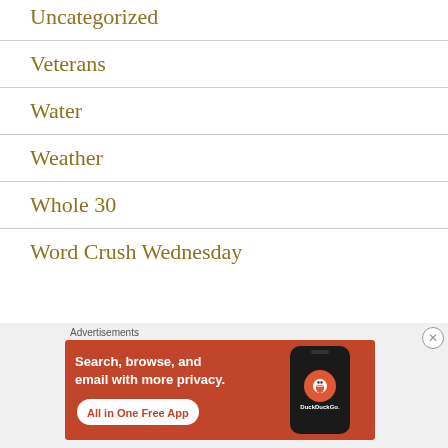Uncategorized
Veterans
Water
Weather
Whole 30
Word Crush Wednesday
[Figure (screenshot): DuckDuckGo advertisement banner: orange/red background with text 'Search, browse, and email with more privacy. All in One Free App' with a phone mockup and DuckDuckGo logo. Labeled 'Advertisements' above.]